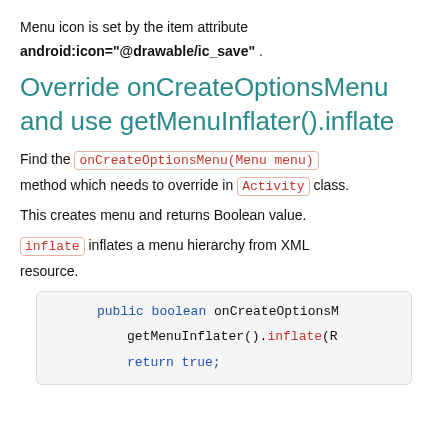Menu icon is set by the item attribute android:icon="@drawable/ic_save" .
Override onCreateOptionsMenu and use getMenuInflater().inflate
Find the onCreateOptionsMenu(Menu menu) method which needs to override in Activity class.
This creates menu and returns Boolean value.
inflate inflates a menu hierarchy from XML resource.
[Figure (screenshot): Code block showing: public boolean onCreateOptionsM... getMenuInflater().inflate(... return true;]